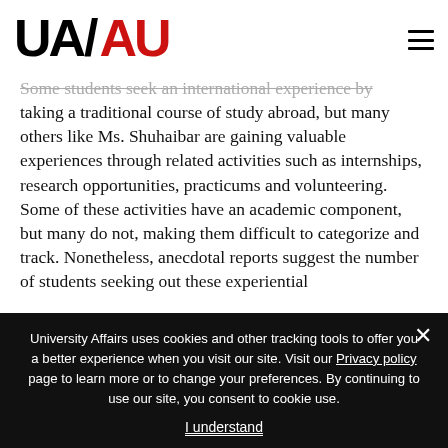UA/AU — University Affairs logo and navigation
Some students seek an international experience by taking a traditional course of study abroad, but many others like Ms. Shuhaibar are gaining valuable experiences through related activities such as internships, research opportunities, practicums and volunteering. Some of these activities have an academic component, but many do not, making them difficult to categorize and track. Nonetheless, anecdotal reports suggest the number of students seeking out these experiential
University Affairs uses cookies and other tracking tools to offer you a better experience when you visit our site. Visit our Privacy policy page to learn more or to change your preferences. By continuing to use our site, you consent to cookie use.
I understand